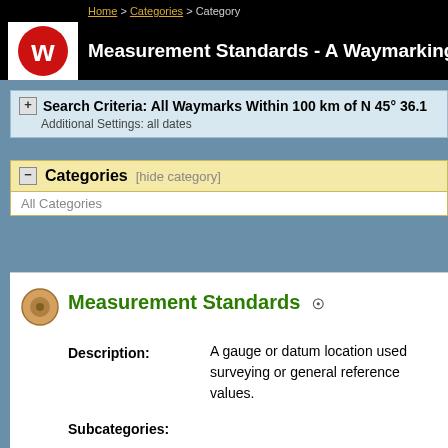Home > Categories > Category
Measurement Standards - A Waymarking.com Category
Search Criteria: All Waymarks Within 100 km of N 45° 36.1... Additional Settings: all dates
Categories [hide category]
All Categories
Measurement Standards
Description: A gauge or datum location used for surveying or general reference values.
Subcategories:
Canadian Benchmarks (216)
Public Land Sur...
U.S. Benchmarks (24)
Great Lines of E...
River Gauges (10)
U.S. Historic Su... Monuments (1)